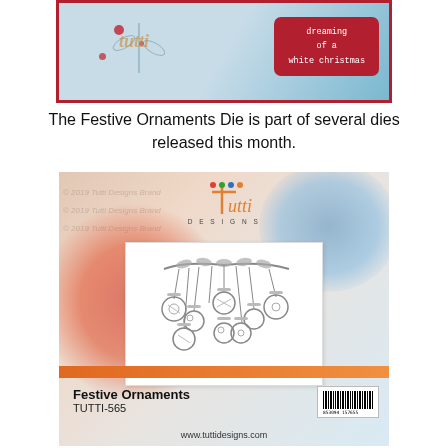[Figure (photo): Photo of a Christmas card with a Tutti Designs logo, blue and red background, and a red tag reading 'dreaming of a white christmas']
The Festive Ornaments Die is part of several dies released this month.
[Figure (photo): Product packaging photo for Tutti Designs Festive Ornaments die (TUTTI-565), showing die-cut ornaments hanging from a branch, with colorful watercolor background, barcode, and website www.tuttidesigns.com]